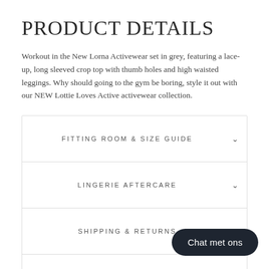PRODUCT DETAILS
Workout in the New Lorna Activewear set in grey, featuring a lace-up, long sleeved crop top with thumb holes and high waisted leggings. Why should going to the gym be boring, style it out with our NEW Lottie Loves Active activewear collection.
FITTING ROOM & SIZE GUIDE
LINGERIE AFTERCARE
SHIPPING & RETURNS
ASK A QUESTION?
REVIEWS
Chat met ons